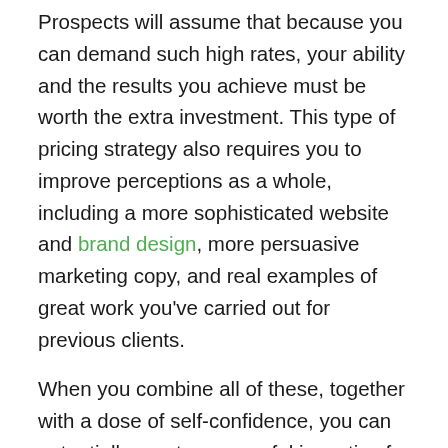Prospects will assume that because you can demand such high rates, your ability and the results you achieve must be worth the extra investment. This type of pricing strategy also requires you to improve perceptions as a whole, including a more sophisticated website and brand design, more persuasive marketing copy, and real examples of great work you've carried out for previous clients.

When you combine all of these, together with a dose of self-confidence, you can potentially create a powerful incentive for quality clients to choose your services.